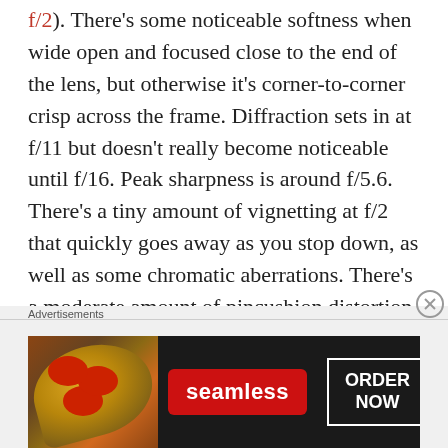f/2). There's some noticeable softness when wide open and focused close to the end of the lens, but otherwise it's corner-to-corner crisp across the frame. Diffraction sets in at f/11 but doesn't really become noticeable until f/16. Peak sharpness is around f/5.6. There's a tiny amount of vignetting at f/2 that quickly goes away as you stop down, as well as some chromatic aberrations. There's a moderate amount of pincushion distortion, which only matters if you shoot brick walls. Bokeh is creamy and quite nice. Lens flare is well controlled, and this lens can create good
Advertisements
[Figure (other): Seamless food delivery advertisement banner showing pizza image on left, Seamless red logo badge in center, and ORDER NOW button on right, on dark background]